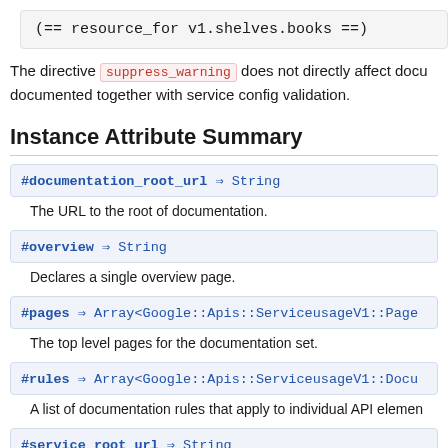(== resource_for v1.shelves.books ==)
The directive suppress_warning does not directly affect docu... documented together with service config validation.
Instance Attribute Summary
#documentation_root_url ⇒ String
The URL to the root of documentation.
#overview ⇒ String
Declares a single overview page.
#pages ⇒ Array<Google::Apis::ServiceusageV1::Page
The top level pages for the documentation set.
#rules ⇒ Array<Google::Apis::ServiceusageV1::Docu
A list of documentation rules that apply to individual API elemen
#service_root_url ⇒ String